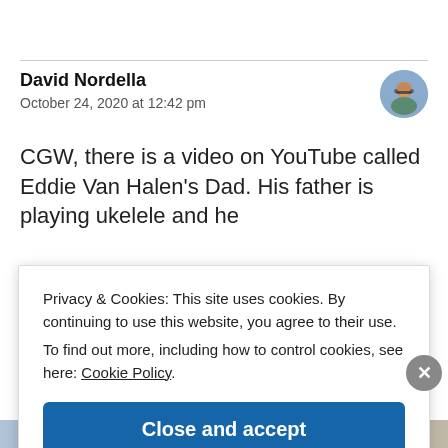David Nordella
October 24, 2020 at 12:42 pm
CGW, there is a video on YouTube called Eddie Van Halen's Dad. His father is playing ukelele and he
Privacy & Cookies: This site uses cookies. By continuing to use this website, you agree to their use.
To find out more, including how to control cookies, see here: Cookie Policy
Close and accept